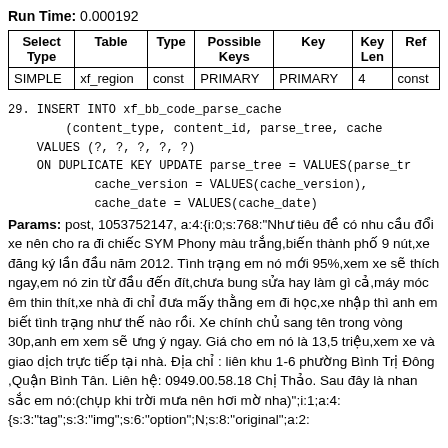Run Time: 0.000192
| Select Type | Table | Type | Possible Keys | Key | Key Len | Ref |
| --- | --- | --- | --- | --- | --- | --- |
| SIMPLE | xf_region | const | PRIMARY | PRIMARY | 4 | const |
29. INSERT INTO xf_bb_code_parse_cache
        (content_type, content_id, parse_tree, cache
VALUES (?, ?, ?, ?, ?)
ON DUPLICATE KEY UPDATE parse_tree = VALUES(parse_tr
        cache_version = VALUES(cache_version),
        cache_date = VALUES(cache_date)
Params: post, 1053752147, a:4:{i:0;s:768:"Như tiêu đề có nhu cầu đổi xe nên cho ra đi chiếc SYM Phony màu trắng,biến thành phố 9 nút,xe đăng ký lần đầu năm 2012. Tình trạng em nó mới 95%,xem xe sẽ thích ngay,em nó zin từ đầu đến đít,chưa bung sửa hay làm gì cả,máy móc êm thin thít,xe nhà đi chỉ đưa mấy thằng em đi học,xe nhập thì anh em biết tình trạng như thế nào rồi. Xe chính chủ sang tên trong vòng 30p,anh em xem sẽ ưng ý ngay. Giá cho em nó là 13,5 triệu,xem xe và giao dịch trực tiếp tại nhà. Địa chỉ : liên khu 1-6 phường Bình Trị Đông ,Quận Bình Tân. Liên hệ: 0949.00.58.18 Chị Thảo. Sau đây là nhan sắc em nó:(chụp khi trời mưa nên hơi mờ nha)";i:1;a:4:{s:3:"tag";s:3:"img";s:6:"option";N;s:8:"original";a:2: